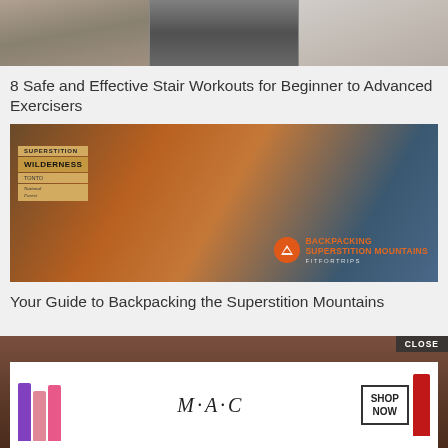[Figure (photo): Three photos of staircases side by side: wooden outdoor stairs, feet on stairs with running shoes, indoor staircase in home]
8 Safe and Effective Stair Workouts for Beginner to Advanced Exercisers
[Figure (photo): Backpacking Superstition Mountains promotional image showing rocky mountains at dusk with a trail sign reading SUPERSTITION WILDERNESS TONTO National Forest, and overlay text BACKPACKING SUPERSTITION MOUNTAINS FITFORTRIPS]
Your Guide to Backpacking the Superstition Mountains
[Figure (photo): Bottom portion partially visible with CLOSE button overlay and MAC cosmetics advertisement showing colorful lipsticks with SHOP NOW button]